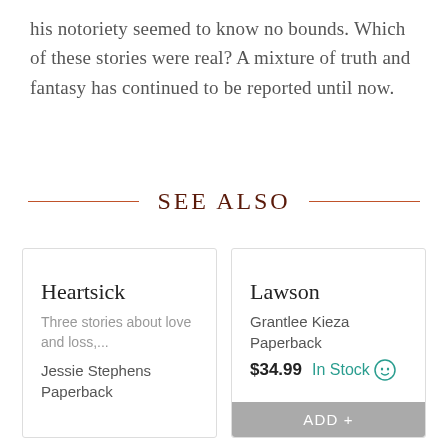his notoriety seemed to know no bounds. Which of these stories were real? A mixture of truth and fantasy has continued to be reported until now.
SEE ALSO
Heartsick
Three stories about love and loss,...
Jessie Stephens
Paperback
Lawson
Grantlee Kieza
Paperback
$34.99  In Stock
ADD +